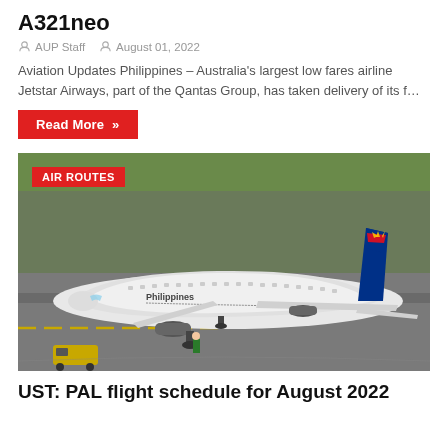A321neo
AUP Staff   August 01, 2022
Aviation Updates Philippines – Australia's largest low fares airline Jetstar Airways, part of the Qantas Group, has taken delivery of its f…
Read More »
[Figure (photo): Philippine Airlines aircraft (white Airbus with 'Philippines' livery and Philippine Airlines tail with sunburst design) on airport tarmac with ground crew and tow vehicle. Badge overlay reads 'AIR ROUTES'.]
UST: PAL flight schedule for August 2022